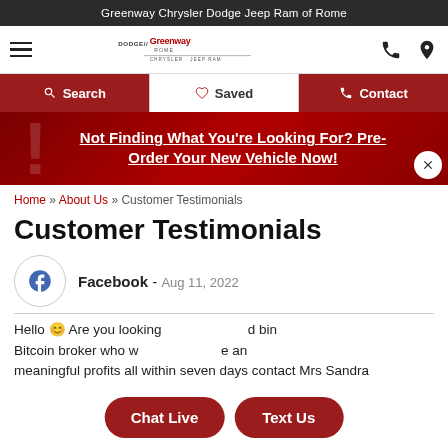Greenway Chrysler Dodge Jeep Ram of Rome
[Figure (logo): Greenway Chrysler Dodge Jeep Ram dealership logo with hamburger menu and phone/location icons]
Search | Saved | Contact
Not Finding What You're Looking For? Pre-Order Your New Vehicle Now!
Home » About Us » Customer Testimonials
Customer Testimonials
Facebook - Aug 11, 2022
Hello 🙂 Are you looking to invest in binary... Bitcoin broker who will... are... meaningful profits all within seven days contact Mrs Sandra